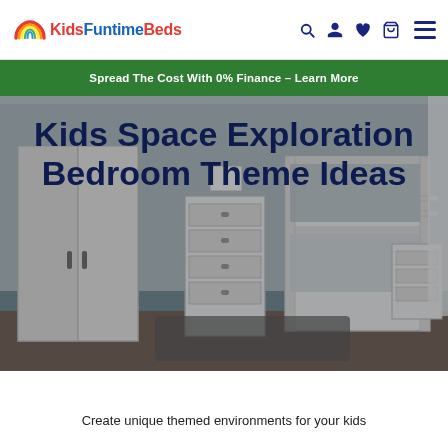KidsFuntimeBeds — navigation bar with logo and icons
Spread The Cost With 0% Finance – Learn More
[Figure (photo): Kids bedroom with white bunk bed, wardrobe, and dresser against grey walls]
Kids Space Exploration Bedroom Theme Ideas
Create unique themed environments for your kids